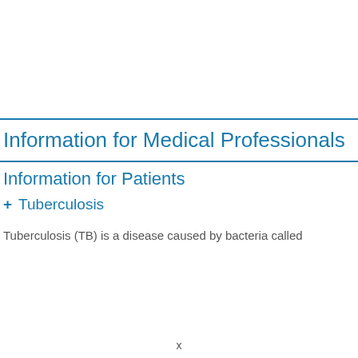Information for Medical Professionals
Information for Patients
+ Tuberculosis
Tuberculosis (TB) is a disease caused by bacteria called
x